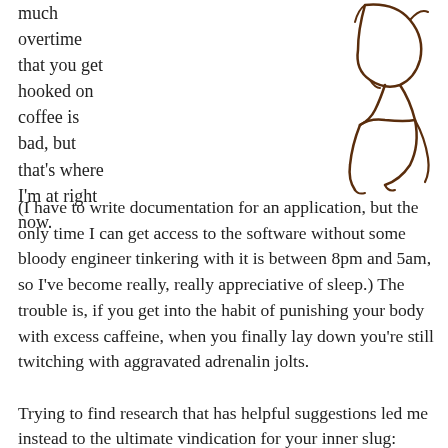much overtime that you get hooked on coffee is bad, but that's where I'm at right now.
[Figure (illustration): Hand-drawn sketch of a person slouching or hunching over, rendered in dark brown ink lines on white background.]
(I have to write documentation for an application, but the only time I can get access to the software without some bloody engineer tinkering with it is between 8pm and 5am, so I've become really, really appreciative of sleep.) The trouble is, if you get into the habit of punishing your body with excess caffeine, when you finally lay down you're still twitching with aggravated adrenalin jolts.

Trying to find research that has helpful suggestions led me instead to the ultimate vindication for your inner slug: getting up early can be harmful to your health. Apparently, "getting up early is also more likely to lead to muscle aches, cold symptoms, headaches and significantly worse moods." [They needed a study to figure that last one out?] Of course, not